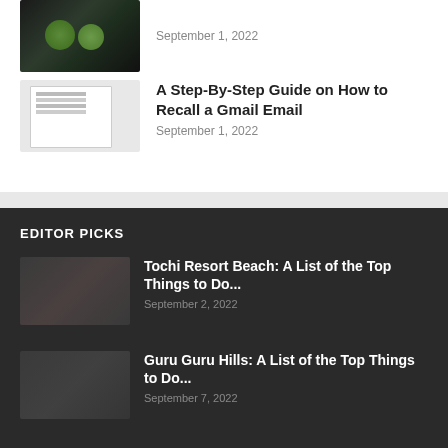[Figure (photo): Thumbnail image of limes/cocktail - dark background with green limes]
September 1, 2022
[Figure (screenshot): Thumbnail screenshot of Gmail interface showing email list]
A Step-By-Step Guide on How to Recall a Gmail Email
September 1, 2022
EDITOR PICKS
[Figure (photo): Thumbnail of Tochi Resort Beach - dark toned image]
Tochi Resort Beach: A List of the Top Things to Do...
September 2, 2022
[Figure (photo): Thumbnail of Guru Guru Hills - dark toned image]
Guru Guru Hills: A List of the Top Things to Do...
September 7, 2022